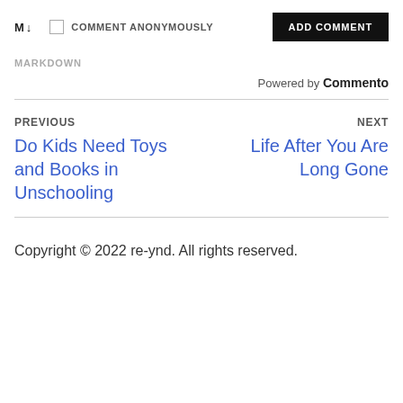M ↓   COMMENT ANONYMOUSLY   ADD COMMENT
MARKDOWN
Powered by Commento
PREVIOUS
Do Kids Need Toys and Books in Unschooling
NEXT
Life After You Are Long Gone
Copyright © 2022 re-ynd. All rights reserved.